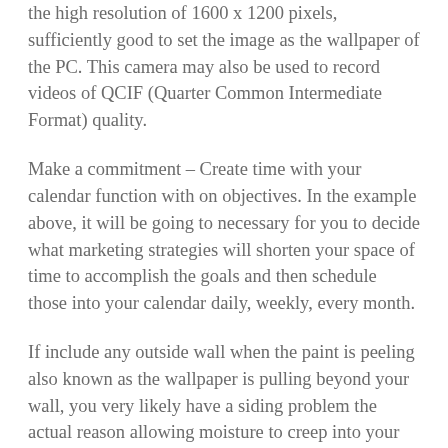the high resolution of 1600 x 1200 pixels, sufficiently good to set the image as the wallpaper of the PC. This camera may also be used to record videos of QCIF (Quarter Common Intermediate Format) quality.
Make a commitment – Create time with your calendar function with on objectives. In the example above, it will be going to necessary for you to decide what marketing strategies will shorten your space of time to accomplish the goals and then schedule those into your calendar daily, weekly, every month.
If include any outside wall when the paint is peeling also known as the wallpaper is pulling beyond your wall, you very likely have a siding problem the actual reason allowing moisture to creep into your home. As moisture moves further along with walls, you will uncover this